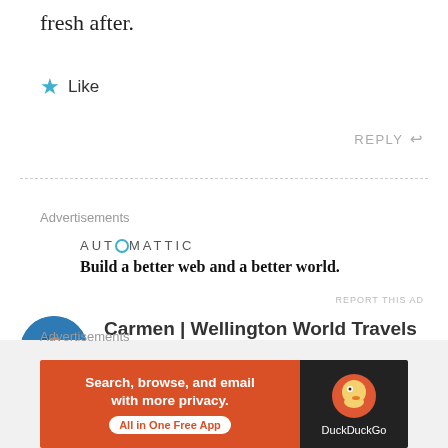fresh after.
Like
REPLY
Advertisements
[Figure (logo): Automattic logo with circular O and tagline: Build a better web and a better world.]
REPORT THIS AD
[Figure (photo): Circular avatar photo of Carmen from Wellington World Travels, showing a group of people outdoors.]
Carmen | Wellington World Travels says:
APRIL 22, 2018 AT 11:17 AM
Advertisements
[Figure (screenshot): DuckDuckGo advertisement: 'Search, browse, and email with more privacy. All in One Free App' with DuckDuckGo logo on dark background.]